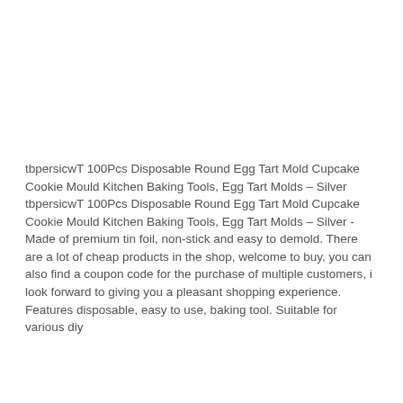tbpersicwT 100Pcs Disposable Round Egg Tart Mold Cupcake Cookie Mould Kitchen Baking Tools, Egg Tart Molds – Silver
tbpersicwT 100Pcs Disposable Round Egg Tart Mold Cupcake Cookie Mould Kitchen Baking Tools, Egg Tart Molds – Silver - Made of premium tin foil, non-stick and easy to demold. There are a lot of cheap products in the shop, welcome to buy, you can also find a coupon code for the purchase of multiple customers, i look forward to giving you a pleasant shopping experience. Features disposable, easy to use, baking tool. Suitable for various diy